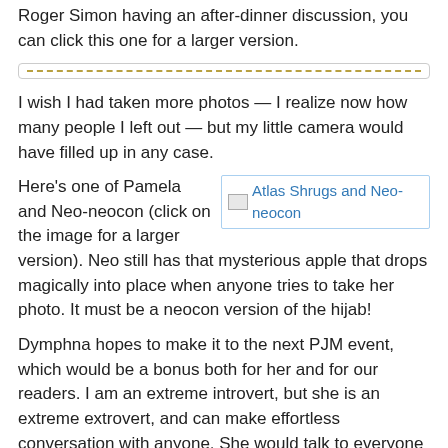Roger Simon having an after-dinner discussion, you can click this one for a larger version.
[Figure (other): Decorative dashed divider line in a bordered box]
I wish I had taken more photos — I realize now how many people I left out — but my little camera would have filled up in any case.
Here's one of Pamela and Neo-neocon (click on the image for a larger version). Neo still has that mysterious apple that drops magically into place when anyone tries to take her photo. It must be a neocon version of the hijab!
[Figure (photo): Broken image placeholder: Atlas Shrugs and Neo-neocon]
Dymphna hopes to make it to the next PJM event, which would be a bonus both for her and for our readers. I am an extreme introvert, but she is an extreme extrovert, and can make effortless conversation with anyone. She would talk to everyone in the room before the evening was through, and be able to give you a much more thorough report than I